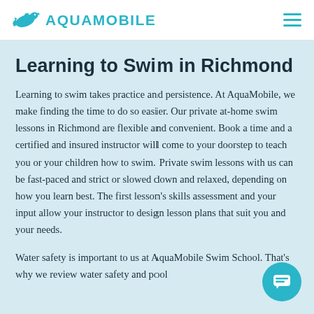AQUAMOBILE
Learning to Swim in Richmond
Learning to swim takes practice and persistence. At AquaMobile, we make finding the time to do so easier. Our private at-home swim lessons in Richmond are flexible and convenient. Book a time and a certified and insured instructor will come to your doorstep to teach you or your children how to swim. Private swim lessons with us can be fast-paced and strict or slowed down and relaxed, depending on how you learn best. The first lesson's skills assessment and your input allow your instructor to design lesson plans that suit you and your needs.
Water safety is important to us at AquaMobile Swim School. That's why we review water safety and pool